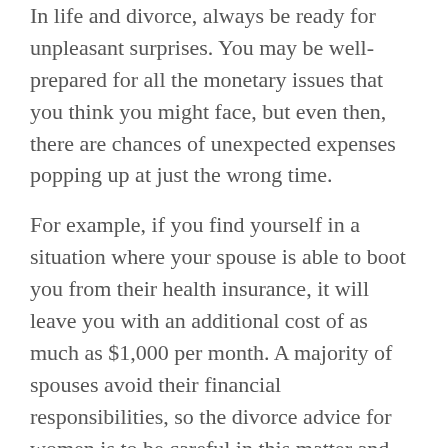In life and divorce, always be ready for unpleasant surprises. You may be well-prepared for all the monetary issues that you think you might face, but even then, there are chances of unexpected expenses popping up at just the wrong time.
For example, if you find yourself in a situation where your spouse is able to boot you from their health insurance, it will leave you with an additional cost of as much as $1,000 per month. A majority of spouses avoid their financial responsibilities, so the divorce advice for women is to be careful in this matter and make your choices with eyes wide open.
From hiring the wrong divorce attorney to unnecessarily taking your divorce to trial, discuss potential hidden costs with your family law attorney to be most prepared for what's to come